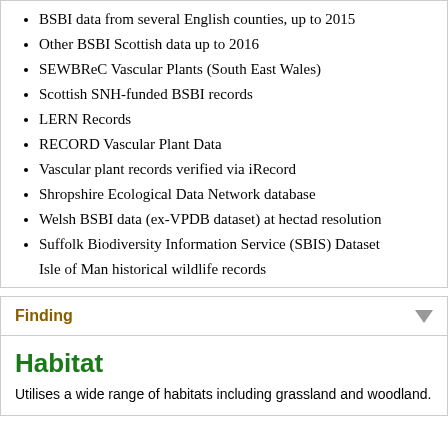BSBI data from several English counties, up to 2015
Other BSBI Scottish data up to 2016
SEWBReC Vascular Plants (South East Wales)
Scottish SNH-funded BSBI records
LERN Records
RECORD Vascular Plant Data
Vascular plant records verified via iRecord
Shropshire Ecological Data Network database
Welsh BSBI data (ex-VPDB dataset) at hectad resolution
Suffolk Biodiversity Information Service (SBIS) Dataset
Isle of Man historical wildlife records
Finding
Habitat
Utilises a wide range of habitats including grassland and woodland.